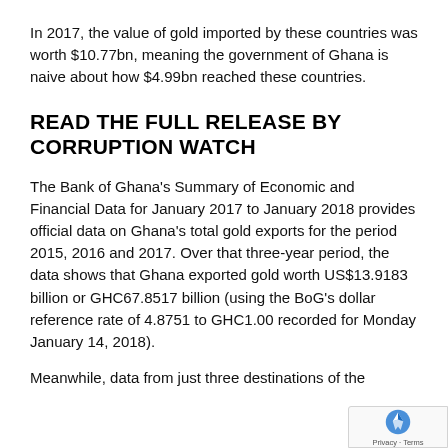In 2017, the value of gold imported by these countries was worth $10.77bn, meaning the government of Ghana is naive about how $4.99bn reached these countries.
READ THE FULL RELEASE BY CORRUPTION WATCH
The Bank of Ghana's Summary of Economic and Financial Data for January 2017 to January 2018 provides official data on Ghana's total gold exports for the period 2015, 2016 and 2017. Over that three-year period, the data shows that Ghana exported gold worth US$13.9183 billion or GHC67.8517 billion (using the BoG's dollar reference rate of 4.8751 to GHC1.00 recorded for Monday January 14, 2018).
Meanwhile, data from just three destinations of the